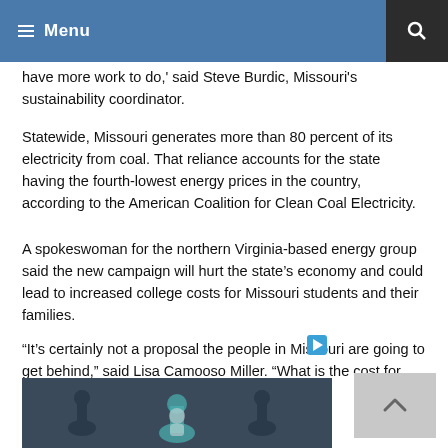Menu
have more work to do,' said Steve Burdic, Missouri's sustainability coordinator.
Statewide, Missouri generates more than 80 percent of its electricity from coal. That reliance accounts for the state having the fourth-lowest energy prices in the country, according to the American Coalition for Clean Coal Electricity.
A spokeswoman for the northern Virginia-based energy group said the new campaign will hurt the state's economy and could lead to increased college costs for Missouri students and their families.
“It’s certainly not a proposal the people in Missouri are going to get behind,” said Lisa Camooso Miller. “What is the cost for developing these kinds of fuel sources?”
[Figure (photo): Dark background image with chess pieces, partially visible at bottom of page]